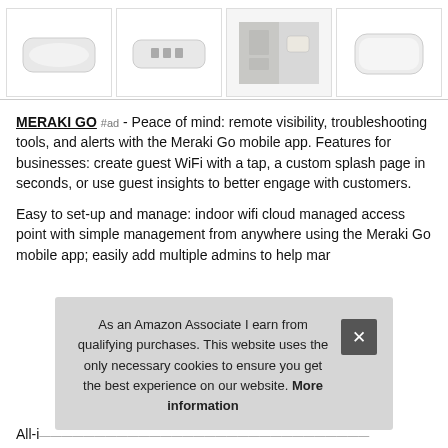[Figure (photo): Four product images of Meraki Go WiFi access point devices shown in a horizontal row. First image shows top view of white rounded rectangular device. Second shows bottom/port view. Third shows device mounted on wall. Fourth shows a clean side/angled view.]
MERAKI GO #ad - Peace of mind: remote visibility, troubleshooting tools, and alerts with the Meraki Go mobile app. Features for businesses: create guest WiFi with a tap, a custom splash page in seconds, or use guest insights to better engage with customers.
Easy to set-up and manage: indoor wifi cloud managed access point with simple management from anywhere using the Meraki Go mobile app; easily add multiple admins to help man
As an Amazon Associate I earn from qualifying purchases. This website uses the only necessary cookies to ensure you get the best experience on our website. More information
All-i